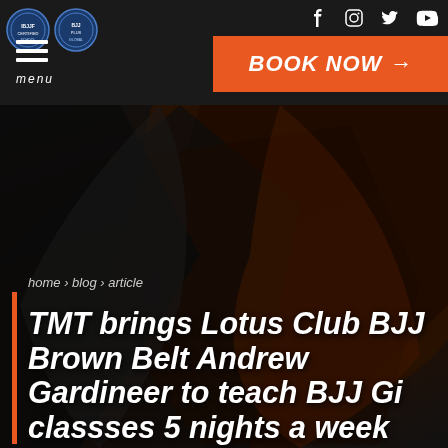TMT Martial Arts website header with logos, social icons, menu, and BOOK NOW button
[Figure (screenshot): Dark hero background image with abstract silhouette shapes in dark brown and grey tones, suggesting martial arts gi or uniform]
home > blog > article
TMT brings Lotus Club BJJ Brown Belt Andrew Gardineer to teach BJJ Gi classses 5 nights a week